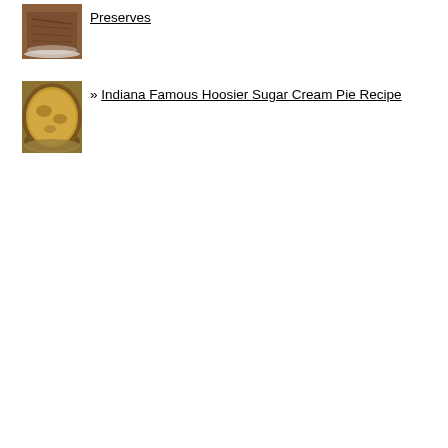[Figure (photo): Photo of pulled pork or braised meat on a white plate]
Preserves
[Figure (photo): Photo of a golden-brown sugar cream pie in a pie dish]
» Indiana Famous Hoosier Sugar Cream Pie Recipe